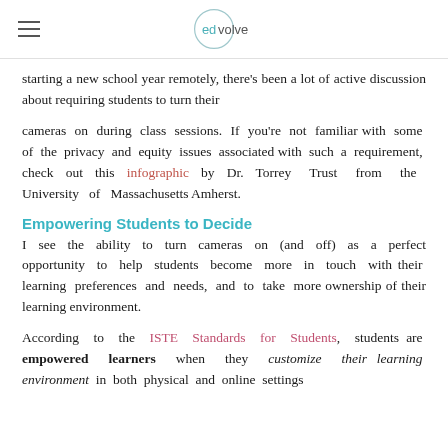edvolve
starting a new school year remotely, there's been a lot of active discussion about requiring students to turn their
cameras on during class sessions. If you're not familiar with some of the privacy and equity issues associated with such a requirement, check out this infographic by Dr. Torrey Trust from the University of Massachusetts Amherst.
Empowering Students to Decide
I see the ability to turn cameras on (and off) as a perfect opportunity to help students become more in touch with their learning preferences and needs, and to take more ownership of their learning environment.
According to the ISTE Standards for Students, students are empowered learners when they customize their learning environment in both physical and online settings.